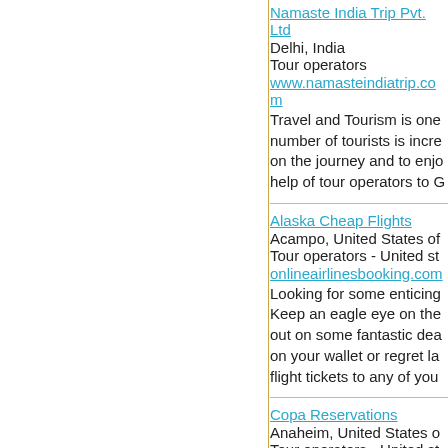Namaste India Trip Pvt. Ltd
Delhi, India
Tour operators
www.namasteindiatrip.com
Travel and Tourism is one... number of tourists is incre... on the journey and to enjo... help of tour operators to G...
Alaska Cheap Flights
Acampo, United States of
Tour operators - United st
onlineairlinesbooking.com
Looking for some enticing... Keep an eagle eye on the... out on some fantastic dea... on your wallet or regret la... flight tickets to any of you...
Copa Reservations
Anaheim, United States o
Tour operators - United st
onlinereservationbooking.
Looking for some enticing... If yes, then Copa Airlines